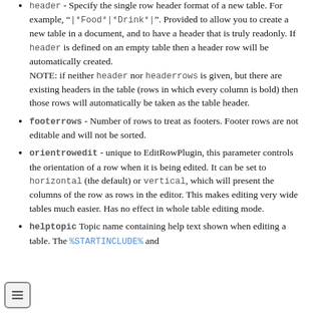header - Specify the single row header format of a new table. For example, "|*Food*|*Drink*|". Provided to allow you to create a new table in a document, and to have a header that is truly readonly. If header is defined on an empty table then a header row will be automatically created.
NOTE: if neither header nor headerrows is given, but there are existing headers in the table (rows in which every column is bold) then those rows will automatically be taken as the table header.
footerrows - Number of rows to treat as footers. Footer rows are not editable and will not be sorted.
orientrowedit - unique to EditRowPlugin, this parameter controls the orientation of a row when it is being edited. It can be set to horizontal (the default) or vertical, which will present the columns of the row as rows in the editor. This makes editing very wide tables much easier. Has no effect in whole table editing mode.
helptopic Topic name containing help text shown when editing a table. The %STARTINCLUDE% and